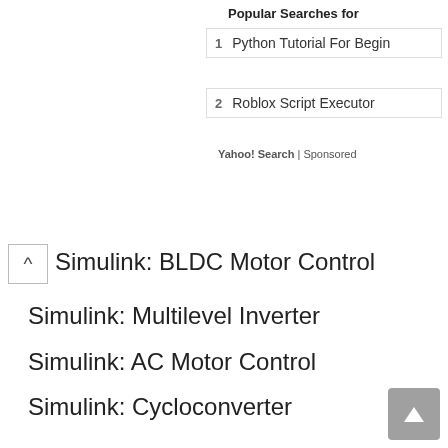Popular Searches for
1  Python Tutorial For Begin
2  Roblox Script Executor
Yahoo! Search | Sponsored
Simulink: BLDC Motor Control
Simulink: Multilevel Inverter
Simulink: AC Motor Control
Simulink: Cycloconverter
Single Phase Voltage Source Inverter
3-Phase Voltage Source Inverter
Buck Converter Design